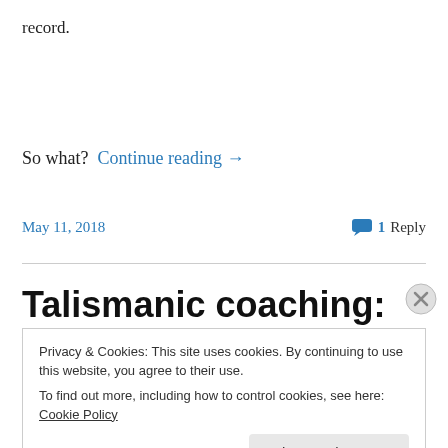record.
So what?  Continue reading →
May 11, 2018
1 Reply
Talismanic coaching: where
Privacy & Cookies: This site uses cookies. By continuing to use this website, you agree to their use.
To find out more, including how to control cookies, see here: Cookie Policy
Close and accept